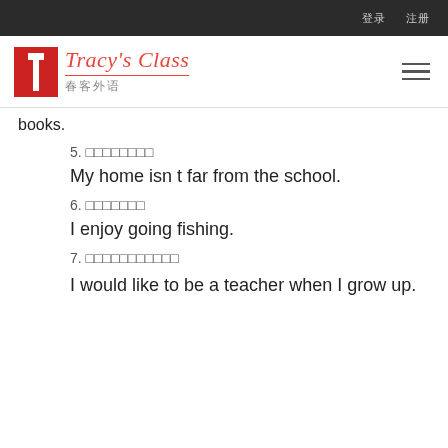登录  注册
[Figure (logo): Tracy's Class 春客外语 logo with red T icon]
books.
5. □□□□□□□□
My home isn t far from the school.
6. □□□□□□□
I enjoy going fishing.
7. □□□□□□□□□□□
I would like to be a teacher when I grow up.